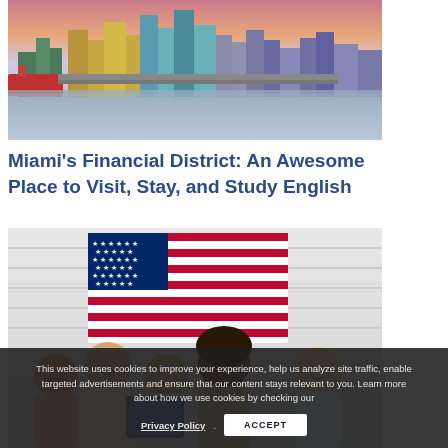[Figure (photo): Aerial/waterfront view of Miami's Financial District skyline with tall buildings, waterway, and a ship visible at dusk/sunset.]
Miami's Financial District: An Awesome Place to Visit, Stay, and Study English
[Figure (photo): Group of five diverse young students smiling and looking at something together, with an American flag hanging on a white brick wall behind them.]
This website uses cookies to improve your experience, help us analyze site traffic, enable targeted advertisements and ensure that our content stays relevant to you. Learn more about how we use cookies by checking our Privacy Policy. ACCEPT